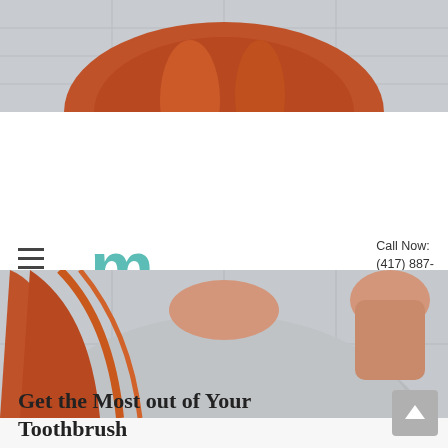[Figure (photo): Top of cropped photo of red-haired woman, showing top of head against tiled background]
moore FAMILY DENTAL | Call Now: (417) 887-1397
[Figure (photo): Red-haired woman in grey sweatshirt raising her hand toward her face, dental office context]
Get the Most out of Your Toothbrush